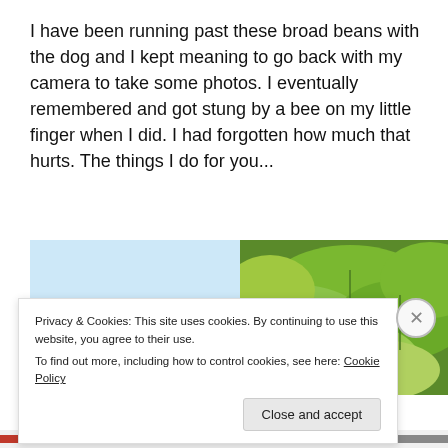I have been running past these broad beans with the dog and I kept meaning to go back with my camera to take some photos. I eventually remembered and got stung by a bee on my little finger when I did. I had forgotten how much that hurts. The things I do for you...
[Figure (photo): Two side-by-side photos: left photo shows a light blue sky, right photo shows close-up green broad bean plant leaves]
Privacy & Cookies: This site uses cookies. By continuing to use this website, you agree to their use.
To find out more, including how to control cookies, see here: Cookie Policy